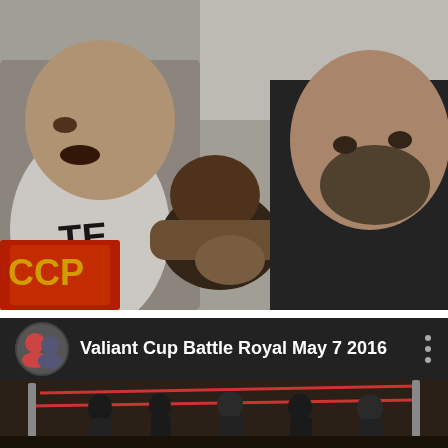[Figure (photo): Close-up photo of professional wrestling action: two large male wrestlers (one in white top with partial text 'TE', another in black sleeveless shirt with beard) appear to be grappling with or attacking a third wrestler with dark hair who is hunched/bent over between them. A colorful logo or patch with 'CCP' and red/yellow colors is visible in the bottom left. Indoor wrestling venue with white walls in background.]
[Figure (screenshot): Screenshot of a YouTube video thumbnail/preview titled 'Valiant Cup Battle Royal May 7 2016'. A small circular profile icon showing two people (a woman with red hair and a man with a cap) appears to the left of the title text. The video preview shows a wrestling ring from a distance with multiple wrestlers/people visible inside and around the ring in a dimly lit indoor venue.]